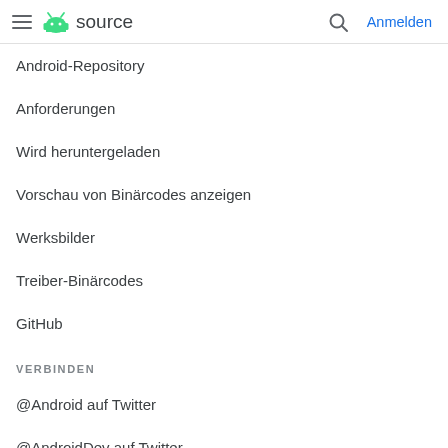Android source — Anmelden
Android-Repository
Anforderungen
Wird heruntergeladen
Vorschau von Binärcodes anzeigen
Werksbilder
Treiber-Binärcodes
GitHub
VERBINDEN
@Android auf Twitter
@AndroidDev auf Twitter
Android-Blog
Blog für Google-Sicherheit